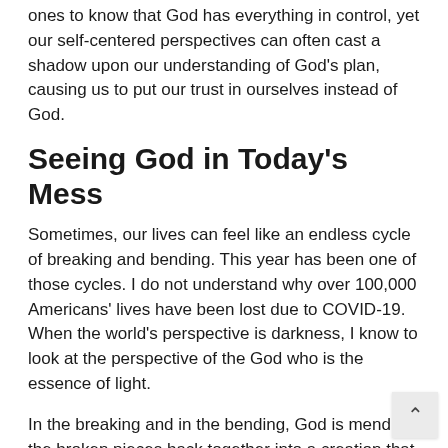ones to know that God has everything in control, yet our self-centered perspectives can often cast a shadow upon our understanding of God's plan, causing us to put our trust in ourselves instead of God.
Seeing God in Today's Mess
Sometimes, our lives can feel like an endless cycle of breaking and bending. This year has been one of those cycles. I do not understand why over 100,000 Americans' lives have been lost due to COVID-19. When the world's perspective is darkness, I know to look at the perspective of the God who is the essence of light.
In the breaking and in the bending, God is mending the broken pieces back together into a creation that is stronger than before. You cannot know the significance of wholeness without once being at a point of brokenness. Christianity never promised to be the easier lifestyle, but promised to be better because we are bestowed the title,